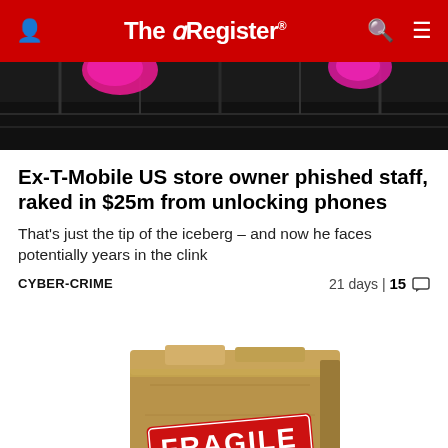The Register
[Figure (photo): Dark ceiling with pink/magenta decorative elements hanging, dark industrial setting]
Ex-T-Mobile US store owner phished staff, raked in $25m from unlocking phones
That's just the tip of the iceberg – and now he faces potentially years in the clink
CYBER-CRIME   21 days | 15 💬
[Figure (photo): A battered cardboard box with a FRAGILE sticker/label on it]